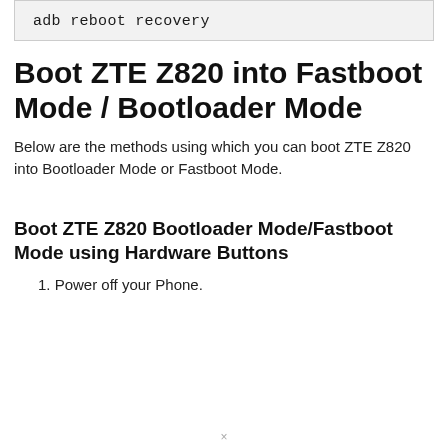adb reboot recovery
Boot ZTE Z820 into Fastboot Mode / Bootloader Mode
Below are the methods using which you can boot ZTE Z820 into Bootloader Mode or Fastboot Mode.
Boot ZTE Z820 Bootloader Mode/Fastboot Mode using Hardware Buttons
1. Power off your Phone.